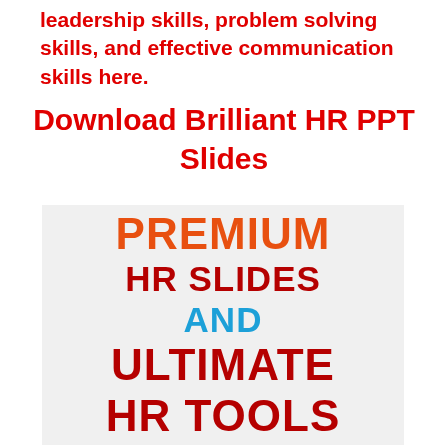leadership skills, problem solving skills, and effective communication skills here.
Download Brilliant HR PPT Slides
[Figure (illustration): Promotional banner with light gray background showing large bold text: 'PREMIUM' in orange, 'HR SLIDES' in dark red, 'AND' in blue, 'ULTIMATE' in dark red, 'HR TOOLS' in dark red]